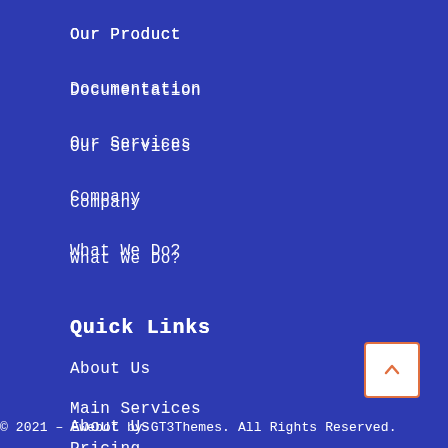Our Product
Documentation
Our Services
Company
What We Do?
Quick Links
About Us
Main Services
Pricing
Our Cases
© 2021 – Ewebot by GT3Themes. All Rights Reserved.